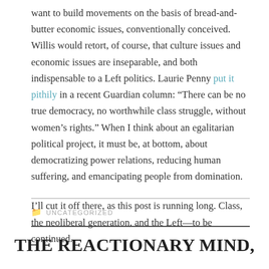want to build movements on the basis of bread-and-butter economic issues, conventionally conceived. Willis would retort, of course, that culture issues and economic issues are inseparable, and both indispensable to a Left politics. Laurie Penny put it pithily in a recent Guardian column: “There can be no true democracy, no worthwhile class struggle, without women’s rights.” When I think about an egalitarian political project, it must be, at bottom, about democratizing power relations, reducing human suffering, and emancipating people from domination.
I’ll cut it off there, as this post is running long. Class, the neoliberal generation, and the Left—to be continued.
UNCATEGORIZED
THE REACTIONARY MIND,